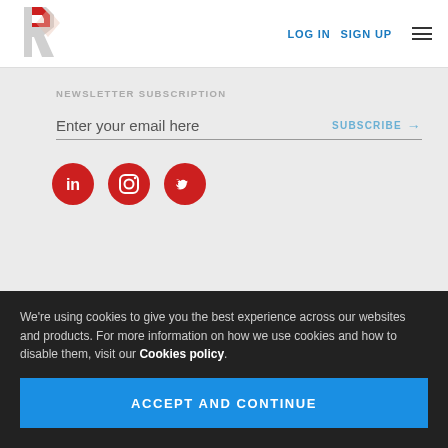[Figure (logo): Red and gray angular R-diamond logo mark]
LOG IN   SIGN UP
NEWSLETTER SUBSCRIPTION
Enter your email here   SUBSCRIBE →
[Figure (illustration): Three red circle social media icons: LinkedIn, Instagram, Twitter]
We're using cookies to give you the best experience across our websites and products. For more information on how we use cookies and how to disable them, visit our Cookies policy.
ACCEPT AND CONTINUE